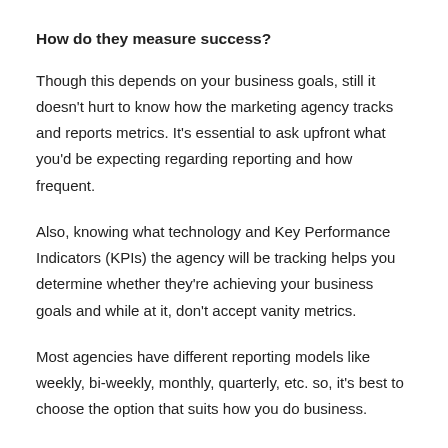How do they measure success?
Though this depends on your business goals, still it doesn't hurt to know how the marketing agency tracks and reports metrics. It's essential to ask upfront what you'd be expecting regarding reporting and how frequent.
Also, knowing what technology and Key Performance Indicators (KPIs) the agency will be tracking helps you determine whether they're achieving your business goals and while at it, don't accept vanity metrics.
Most agencies have different reporting models like weekly, bi-weekly, monthly, quarterly, etc. so, it's best to choose the option that suits how you do business.